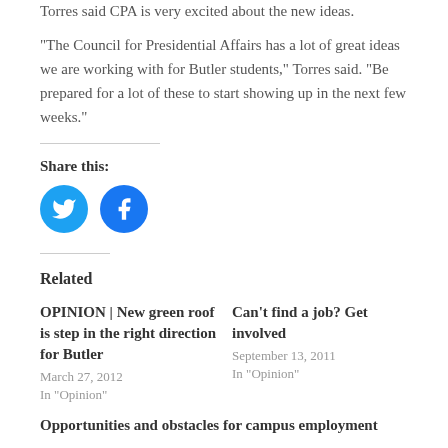Torres said CPA is very excited about the new ideas.
“The Council for Presidential Affairs has a lot of great ideas we are working with for Butler students,” Torres said.  “Be prepared for a lot of these to start showing up in the next few weeks.”
Share this:
[Figure (illustration): Twitter and Facebook social sharing icons (circular blue buttons with white bird and f logos)]
Related
OPINION | New green roof is step in the right direction for Butler
March 27, 2012
In "Opinion"
Can't find a job? Get involved
September 13, 2011
In "Opinion"
Opportunities and obstacles for campus employment